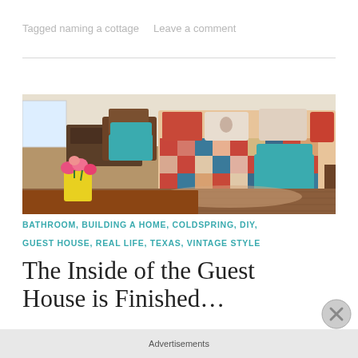Tagged naming a cottage   Leave a comment
[Figure (photo): Interior of a guest house showing a colorful patchwork quilt-covered sofa/daybed with red and floral pillows, two teal/turquoise mid-century modern chairs, a wooden dining chair, brown wood furniture, and a yellow bucket with pink flowers in the foreground on a wooden floor.]
BATHROOM, BUILDING A HOME, COLDSPRING, DIY, GUEST HOUSE, REAL LIFE, TEXAS, VINTAGE STYLE
The Inside of the Guest House is Finished...
Advertisements